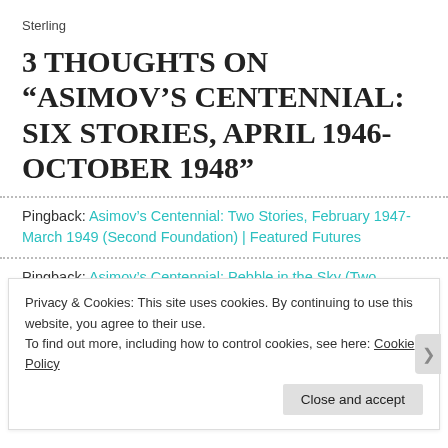Sterling
3 THOUGHTS ON “ASIMOV’S CENTENNIAL: SIX STORIES, APRIL 1946-OCTOBER 1948”
Pingback: Asimov’s Centennial: Two Stories, February 1947-March 1949 (Second Foundation) | Featured Futures
Pingback: Asimov’s Centennial: Pebble in the Sky (Two
Privacy & Cookies: This site uses cookies. By continuing to use this website, you agree to their use.
To find out more, including how to control cookies, see here: Cookie Policy